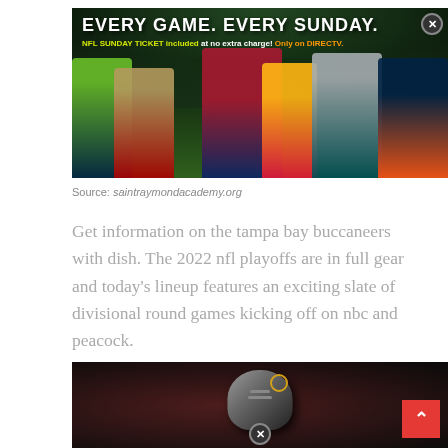[Figure (photo): NFL Sunday Ticket advertisement banner showing multiple NFL players in action with text 'EVERY GAME. EVERY SUNDAY.' and 'NFL SUNDAY TICKET included at no extra charge! Only on DIRECTV.']
Source: saintraymondacademy.org
Get information on the tampa bay buccaneers with dish. The 2022 nfl playoffs are in full gear and today’s lineup features an exciting slate of divisional round games kicking off on nbc and peacock.
[Figure (photo): NFL football player wearing a Buccaneers helmet, partially visible, dark stadium background]